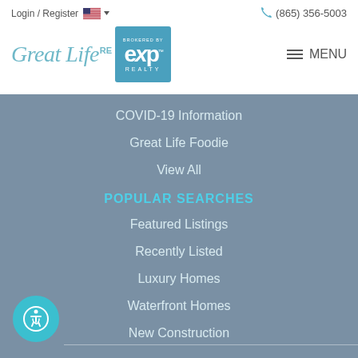Login / Register  (865) 356-5003
[Figure (logo): Great Life RE logo with eXp Realty brokered by badge and hamburger menu]
COVID-19 Information
Great Life Foodie
View All
POPULAR SEARCHES
Featured Listings
Recently Listed
Luxury Homes
Waterfront Homes
New Construction